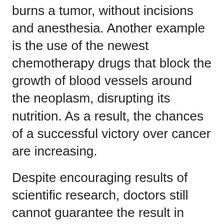burns a tumor, without incisions and anesthesia. Another example is the use of the newest chemotherapy drugs that block the growth of blood vessels around the neoplasm, disrupting its nutrition. As a result, the chances of a successful victory over cancer are increasing.
Despite encouraging results of scientific research, doctors still cannot guarantee the result in each specific clinical situation: a patient sometimes reacts to treatment in an unpredictable way. However, the patient and his family should do everything possible to fight cancer. An important role in the forecast is played by the patient's psychological mood.
Complex treatment of cancer
Usually, cancer treatment is combined and consists of chemotherapy, surgery and radiotherapy.